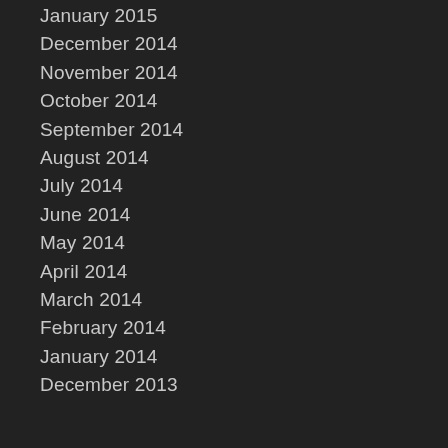January 2015
December 2014
November 2014
October 2014
September 2014
August 2014
July 2014
June 2014
May 2014
April 2014
March 2014
February 2014
January 2014
December 2013